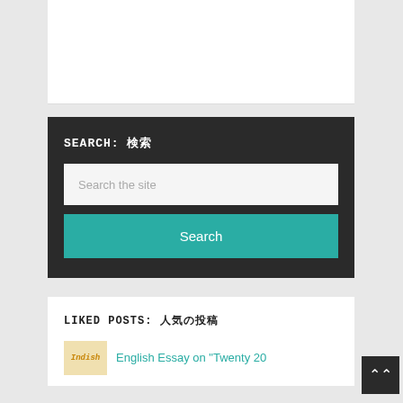[Figure (other): White content box at top of sidebar]
SEARCH: 検索
[Figure (screenshot): Search widget with text input field showing placeholder 'Search the site' and a teal Search button]
LIKED POSTS: 人気の投稿
English Essay on "Twenty 20